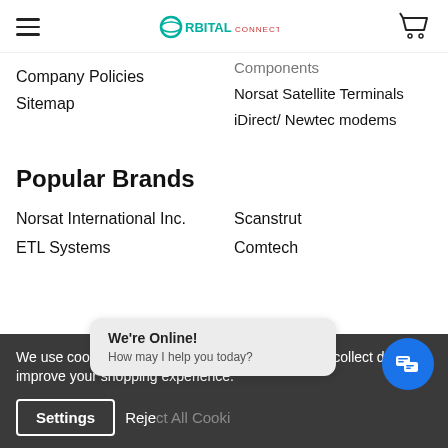Orbital Connect — navigation header with hamburger menu, logo, and cart icon
Components (partial, top)
Company Policies
Sitemap
Norsat Satellite Terminals
iDirect/ Newtec modems
Popular Brands
Norsat International Inc.
ETL Systems
Scanstrut
Comtech
We use cookies (and other similar technologies) to collect data to improve your shopping experience.
Settings
Reject All Cookies
We're Online! How may I help you today?